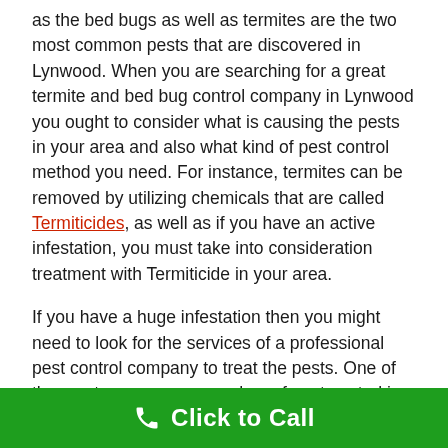as the bed bugs as well as termites are the two most common pests that are discovered in Lynwood. When you are searching for a great termite and bed bug control company in Lynwood you ought to consider what is causing the pests in your area and also what kind of pest control method you need. For instance, termites can be removed by utilizing chemicals that are called Termiticides, as well as if you have an active infestation, you must take into consideration treatment with Termiticide in your area.
If you have a huge infestation then you might need to look for the services of a professional pest control company to treat the pests. One of the most common approaches of pest control is the use of chemicals.
One of one of the most usual chemicals that is used to deal with pests in Lynwood is Termiticide which is a chemical that is designed to eliminate the bed bugs and termites. You need
Click to Call